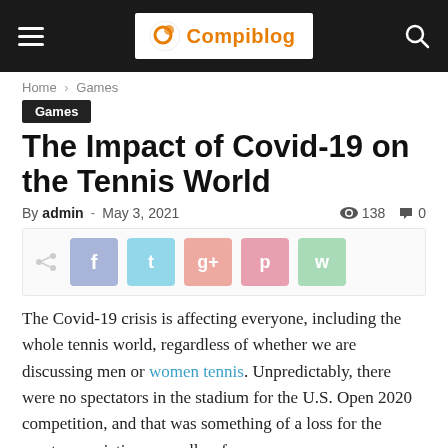Compiblog — navigation bar with hamburger menu, logo, and search icon
Home › Games
Games
The Impact of Covid-19 on the Tennis World
By admin - May 3, 2021  138  0
[Figure (other): Social share bar with share icon and buttons for Facebook, Twitter, Google+, Pinterest, WhatsApp]
The Covid-19 crisis is affecting everyone, including the whole tennis world, regardless of whether we are discussing men or women tennis. Unpredictably, there were no spectators in the stadium for the U.S. Open 2020 competition, and that was something of a loss for the sports association, as well as for